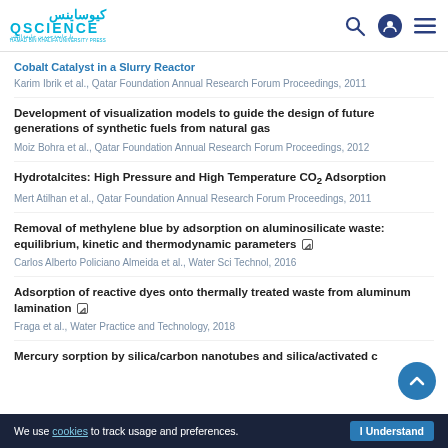[Figure (logo): QScience logo with Arabic text and English QSCIENCE wordmark in teal/blue]
Cobalt Catalyst in a Slurry Reactor
Karim Ibrik et al., Qatar Foundation Annual Research Forum Proceedings, 2011
Development of visualization models to guide the design of future generations of synthetic fuels from natural gas
Moiz Bohra et al., Qatar Foundation Annual Research Forum Proceedings, 2012
Hydrotalcites: High Pressure and High Temperature CO2 Adsorption
Mert Atilhan et al., Qatar Foundation Annual Research Forum Proceedings, 2011
Removal of methylene blue by adsorption on aluminosilicate waste: equilibrium, kinetic and thermodynamic parameters
Carlos Alberto Policiano Almeida et al., Water Sci Technol, 2016
Adsorption of reactive dyes onto thermally treated waste from aluminum lamination
Fraga et al., Water Practice and Technology, 2018
Mercury sorption by silica/carbon nanotubes and silica/activated c...
We use cookies to track usage and preferences.